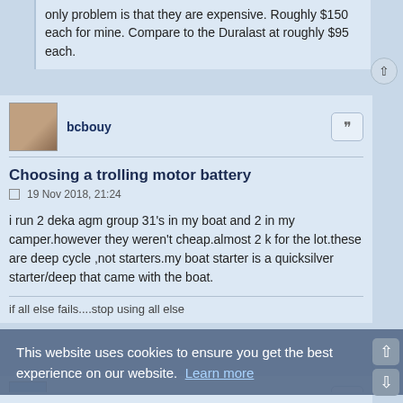only problem is that they are expensive. Roughly $150 each for mine. Compare to the Duralast at roughly $95 each.
bcbouy
Choosing a trolling motor battery
19 Nov 2018, 21:24
i run 2 deka agm group 31's in my boat and 2 in my camper.however they weren't cheap.almost 2 k for the lot.these are deep cycle ,not starters.my boat starter is a quicksilver starter/deep that came with the boat.
if all else fails....stop using all else
Ryzen
Choosing a trolling motor battery
30 May 2021, 09:08
Giving the amount of time that has passed since the initial post on this thread, I guess you've found the battery you need. Let us
This website uses cookies to ensure you get the best experience on our website.  Learn more
Got it!